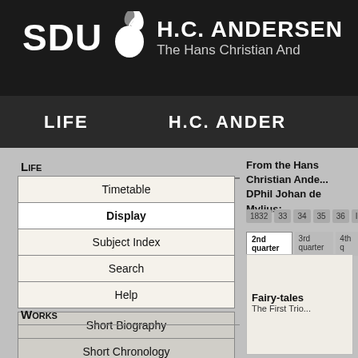[Figure (screenshot): SDU and H.C. Andersen website header logo with SDU text, apple/leaf icon, and H.C. ANDERSEN title with subtitle The Hans Christian And...]
LIFE    H.C. ANDER
Life
Timetable
Display
Subject Index
Search
Help
Short Biography
Short Chronology
Works
From the Hans Christian Ande... DPhil Johan de Mylius:
1832  33  34  35  36  Index
2nd quarter  3rd quarter  4th q
Fairy-tales
The First Trio...